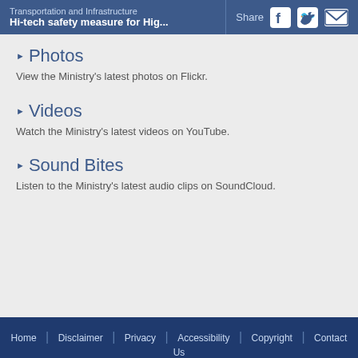Transportation and Infrastructure | Hi-tech safety measure for Hig... | Share
▶ Photos
View the Ministry's latest photos on Flickr.
▶ Videos
Watch the Ministry's latest videos on YouTube.
▶ Sound Bites
Listen to the Ministry's latest audio clips on SoundCloud.
Home | Disclaimer | Privacy | Accessibility | Copyright | Contact Us
Connect  VIEW ALL SOCIAL MEDIA